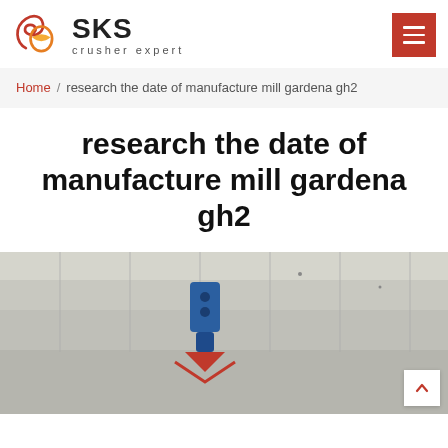SKS crusher expert
Home / research the date of manufacture mill gardena gh2
research the date of manufacture mill gardena gh2
[Figure (photo): Industrial overhead crane or lifting equipment in a factory/warehouse setting, showing blue mechanical components against a grey ceiling background.]